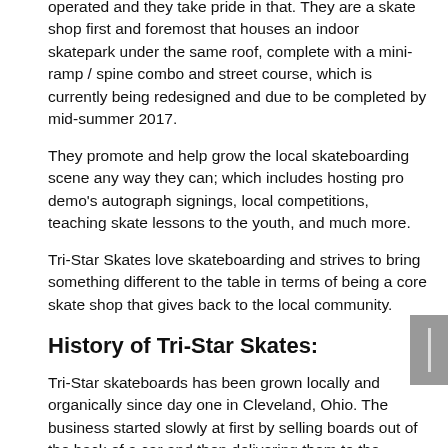operated and they take pride in that. They are a skate shop first and foremost that houses an indoor skatepark under the same roof, complete with a mini-ramp / spine combo and street course, which is currently being redesigned and due to be completed by mid-summer 2017.
They promote and help grow the local skateboarding scene any way they can; which includes hosting pro demo's autograph signings, local competitions, teaching skate lessons to the youth, and much more.
Tri-Star Skates love skateboarding and strives to bring something different to the table in terms of being a core skate shop that gives back to the local community.
History of Tri-Star Skates:
Tri-Star skateboards has been grown locally and organically since day one in Cleveland, Ohio. The business started slowly at first by selling boards out of the back of a car and then delivering them to the...